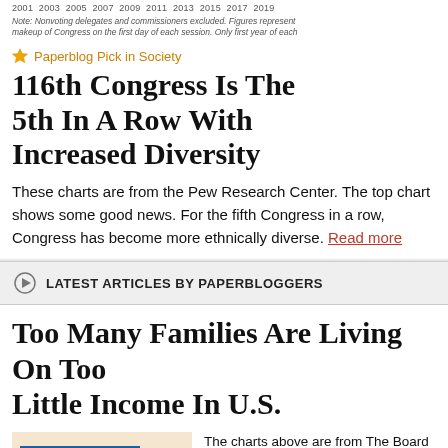2001 2003 2005 2007 2009 2011 2013 2015 2017 2019
Note: Nonvoting delegates and commissioners excluded. Figures represent makeup of Congress on the first day of each session. Only first year of each…
Paperblog Pick in Society
116th Congress Is The 5th In A Row With Increased Diversity
These charts are from the Pew Research Center. The top chart shows some good news. For the fifth Congress in a row, Congress has become more ethnically diverse. Read more
LATEST ARTICLES BY PAPERBLOGGERS
Too Many Families Are Living On Too Little Income In U.S.
[Figure (bar-chart): Horizontal bar chart with blue bars on a light orange/tan background, showing multiple rows of data with numeric labels (7, 7, 6)]
The charts above are from The Board of Governors of the Federal Reserve System. They were contained in a May 2018 rep…